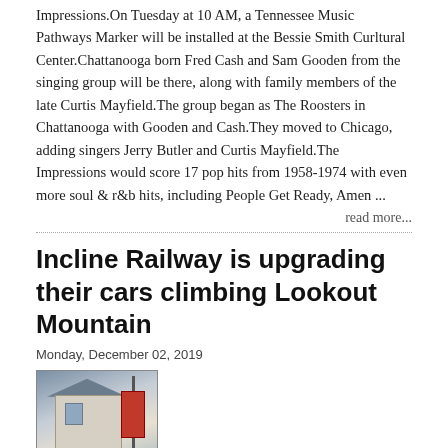Impressions.On Tuesday at 10 AM, a Tennessee Music Pathways Marker will be installed at the Bessie Smith Curltural Center.Chattanooga born Fred Cash and Sam Gooden from the singing group will be there, along with family members of the late Curtis Mayfield.The group began as The Roosters in Chattanooga with Gooden and Cash.They moved to Chicago, adding singers Jerry Butler and Curtis Mayfield.The Impressions would score 17 pop hits from 1958-1974 with even more soul & r&b hits, including People Get Ready, Amen ...
read more...
Incline Railway is upgrading their cars climbing Lookout Mountain
Monday, December 02, 2019
[Figure (photo): Thumbnail photo of the Incline Railway car on Lookout Mountain]